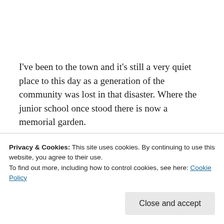I've been to the town and it's still a very quiet place to this day as a generation of the community was lost in that disaster. Where the junior school once stood there is now a memorial garden.
Sponsored Content
[Figure (photo): Partial view of a photo strip showing a person in dark clothing outdoors, cropped by cookie notice overlay]
Privacy & Cookies: This site uses cookies. By continuing to use this website, you agree to their use.
To find out more, including how to control cookies, see here: Cookie Policy
Close and accept